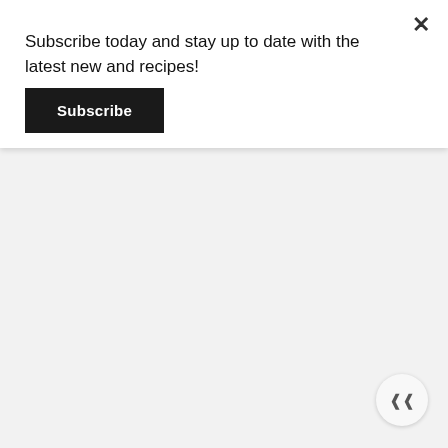Subscribe today and stay up to date with the latest new and recipes!
Subscribe
[Figure (other): Light gray background section below the subscribe banner, representing a page content area. Contains a circular scroll-to-top button with double chevron (upward arrows) in the bottom right corner.]